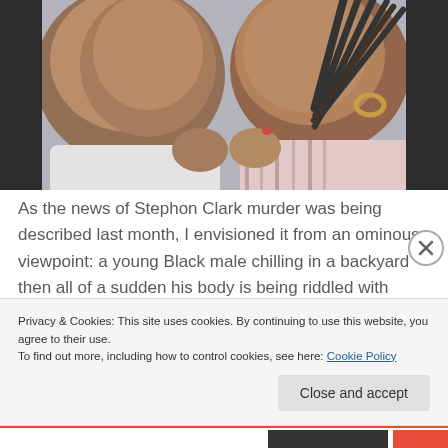[Figure (photo): Two children facing each other with their foreheads close together, both with fists raised, appearing to be in a confrontational pose. One child is a boy in a white shirt, the other is a girl with braids and hoop earrings in a striped top.]
As the news of Stephon Clark murder was being described last month, I envisioned it from an ominous viewpoint: a young Black male chilling in a backyard then all of a sudden his body is being riddled with bullets. I didn't post anything about Stephon; I just watched the story develop. Then last
Privacy & Cookies: This site uses cookies. By continuing to use this website, you agree to their use.
To find out more, including how to control cookies, see here: Cookie Policy
Close and accept